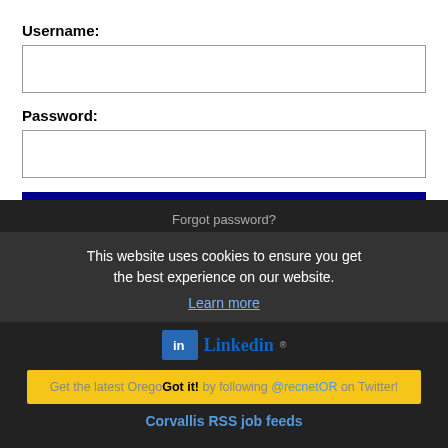Username:
Password:
Log In
Forgot password?
This website uses cookies to ensure you get the best experience on our website.
Learn more
Get the latest Oregon jobs by following @recnetOR on Twitter!
Got it!
Corvallis RSS job feeds